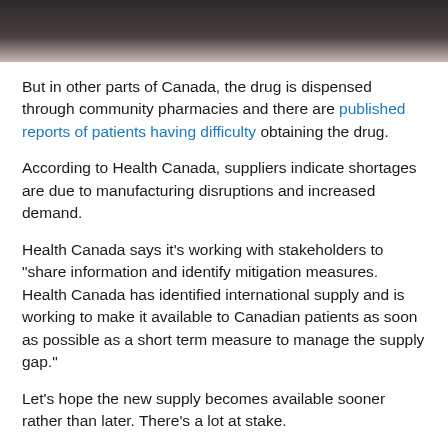[Figure (photo): Partial photo at top of page, dark tones suggesting a person or object, cropped]
But in other parts of Canada, the drug is dispensed through community pharmacies and there are published reports of patients having difficulty obtaining the drug.
According to Health Canada, suppliers indicate shortages are due to manufacturing disruptions and increased demand.
Health Canada says it's working with stakeholders to "share information and identify mitigation measures. Health Canada has identified international supply and is working to make it available to Canadian patients as soon as possible as a short term measure to manage the supply gap."
Let's hope the new supply becomes available sooner rather than later. There's a lot at stake.